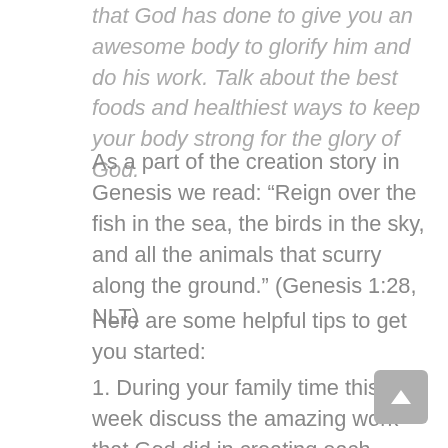that God has done to give you an awesome body to glorify him and do his work. Talk about the best foods and healthiest ways to keep your body strong for the glory of God.
As a part of the creation story in Genesis we read: “Reign over the fish in the sea, the birds in the sky, and all the animals that scurry along the ground.” (Genesis 1:28, NLT)
Here are some helpful tips to get you started:
1. During your family time this week discuss the amazing work that God did in creating each person differently